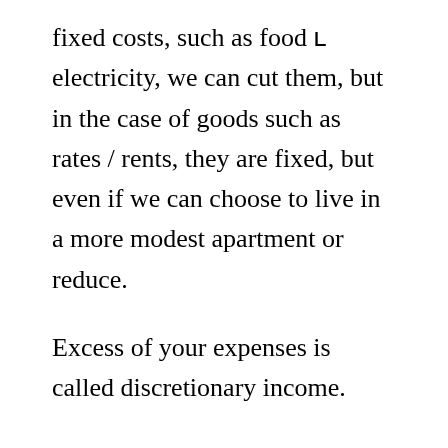fixed costs, such as food ʟ electricity, we can cut them, but in the case of goods such as rates / rents, they are fixed, but even if we can choose to live in a more modest apartment or reduce.
Excess of your expenses is called discretionary income.
Another way to increase your one-time (discretionary) income is to increase your income by getting a part-time job, getting a